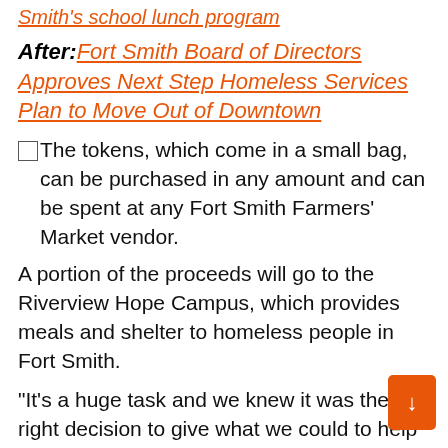Smith's school lunch program
After: Fort Smith Board of Directors Approves Next Step Homeless Services Plan to Move Out of Downtown
The tokens, which come in a small bag, can be purchased in any amount and can be spent at any Fort Smith Farmers' Market vendor.
A portion of the proceeds will go to the Riverview Hope Campus, which provides meals and shelter to homeless people in Fort Smith.
“It’s a huge task and we knew it was the right decision to give what we could to help this business that they do in one way or another every day,” Mazyck said in an email. “They